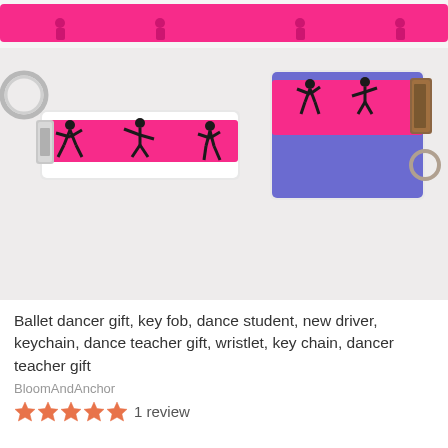[Figure (photo): Product photo showing two ballet dancer key fobs/keychains on a white surface. The left one has a pink ribbon with black ballet dancer silhouettes on a white base with a silver key ring and clip. The right one has a pink ribbon with black ballet dancer silhouettes on a purple base with a brown/gold clip. There is also a pink lanyard with ballet dancer silhouettes visible at the top.]
Ballet dancer gift, key fob, dance student, new driver, keychain, dance teacher gift, wristlet, key chain, dancer teacher gift
BloomAndAnchor
1 review